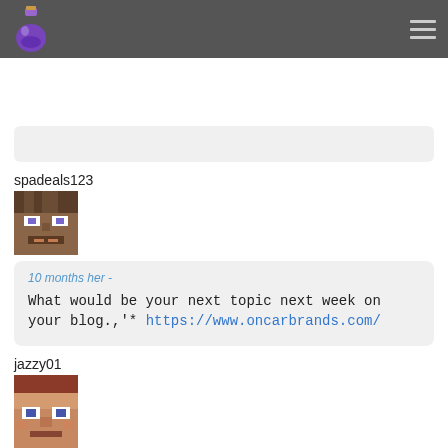spadeals123
[Figure (photo): Minecraft Steve avatar pixelated face]
10 months her -
What would be your next topic next week on your blog.,'* https://www.oncarbrands.com/
jazzy01
[Figure (photo): Minecraft avatar pixelated face, brownish skin]
10 months her